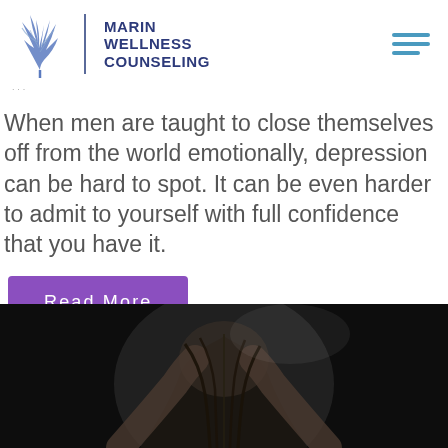[Figure (logo): Marin Wellness Counseling logo with tree/plant SVG icon and text]
When men are taught to close themselves off from the world emotionally, depression can be hard to spot. It can be even harder to admit to yourself with full confidence that you have it.
Read More
[Figure (photo): Black and white photo of a person in distress, hands in hair against dark background]